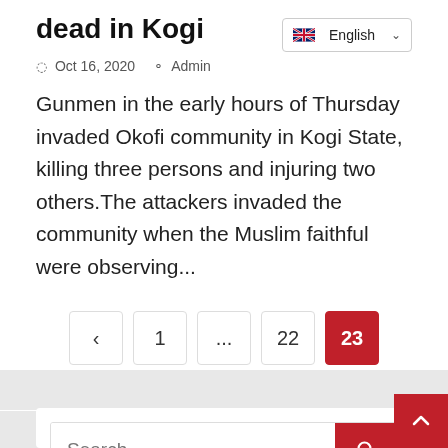dead in Kogi
Oct 16, 2020  Admin
Gunmen in the early hours of Thursday invaded Okofi community in Kogi State, killing three persons and injuring two others.The attackers invaded the community when the Muslim faithful were observing...
Pagination: < 1 ... 22 23
Search